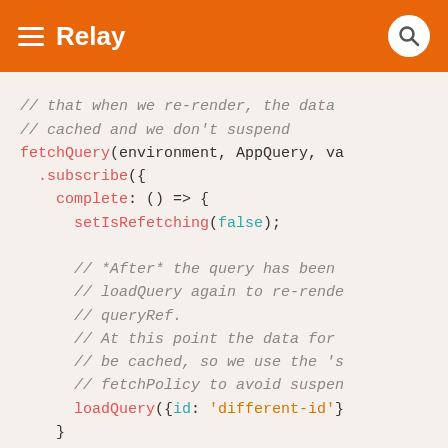Relay
[Figure (screenshot): Code snippet showing JavaScript/React Relay code with fetchQuery, subscribe, setIsRefetching, loadQuery functions and comments]